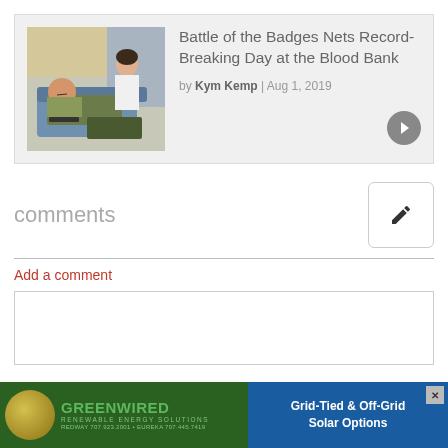[Figure (photo): Article card with photo of a person in uniform donating blood at a blood bank, with a healthcare worker standing behind. Title: Battle of the Badges Nets Record-Breaking Day at the Blood Bank. By Kym Kemp | Aug 1, 2019]
Battle of the Badges Nets Record-Breaking Day at the Blood Bank
by Kym Kemp | Aug 1, 2019
comments
Add a comment
[Figure (screenshot): Greenwired Renewable Energy Solutions advertisement. Grid-Tied & Off-Grid Solar Options. Phone: Redway 707.923.2001 / Eureka 707.445.7419]